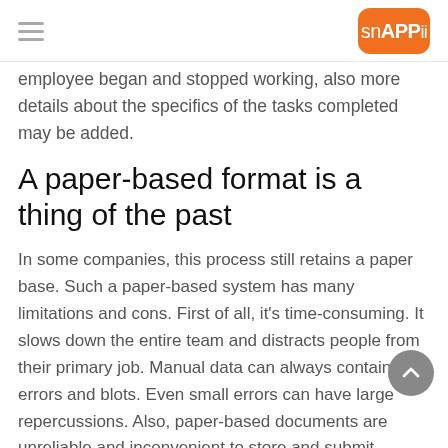snAPPii
employee began and stopped working, also more details about the specifics of the tasks completed may be added.
A paper-based format is a thing of the past
In some companies, this process still retains a paper base. Such a paper-based system has many limitations and cons. First of all, it's time-consuming. It slows down the entire team and distracts people from their primary job. Manual data can always contain errors and blots. Even small errors can have large repercussions. Also, paper-based documents are unreliable and inconvenient to store and submit.